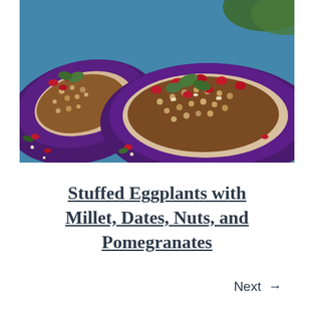[Figure (photo): Close-up photo of stuffed eggplant halves filled with millet, nuts, pomegranate seeds, and fresh herbs (cilantro), placed on a bright blue surface with scattered pomegranate seeds around them.]
Stuffed Eggplants with Millet, Dates, Nuts, and Pomegranates
Next →